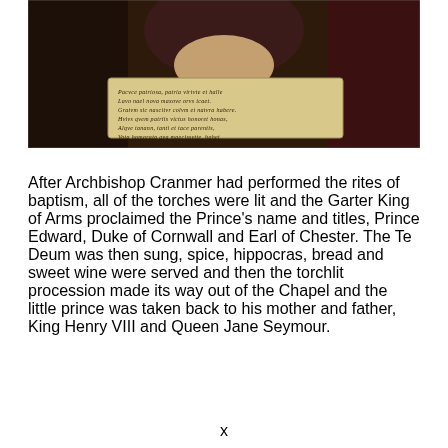[Figure (photo): A portrait painting showing a figure in dark robes holding a scroll/tablet with Latin text inscribed upon it. The inscription reads lines of Latin verse. The background shows rich dark drapery.]
After Archbishop Cranmer had performed the rites of baptism, all of the torches were lit and the Garter King of Arms proclaimed the Prince's name and titles, Prince Edward, Duke of Cornwall and Earl of Chester. The Te Deum was then sung, spice, hippocras, bread and sweet wine were served and then the torchlit procession made its way out of the Chapel and the little prince was taken back to his mother and father, King Henry VIII and Queen Jane Seymour.
x